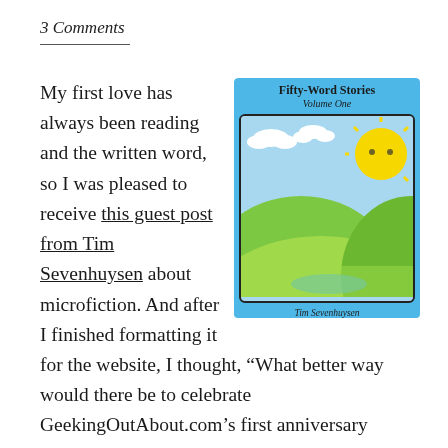3 Comments
[Figure (illustration): Book cover of 'Fifty-Word Stories Volume One' by Tim Sevenhuysen. Blue background with a cartoon scene: green hills, a yellow sun with a face, white clouds, and a small blue lake. Black rounded rectangle border. Author name 'Tim Sevenhuysen' at bottom.]
My first love has always been reading and the written word, so I was pleased to receive this guest post from Tim Sevenhuysen about microfiction. And after I finished formatting it for the website, I thought, “What better way would there be to celebrate GeekingOutAbout.com’s first anniversary (which was May 1), but with a creative writing contest?”